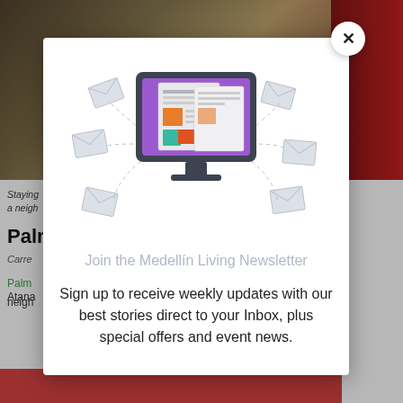[Figure (screenshot): Background webpage showing a room photo with red curtains and text about Palermo neighborhood in Medellín. Partially obscured by modal overlay.]
[Figure (illustration): Newsletter signup modal popup with an illustration of a computer monitor displaying a newsletter/newspaper graphic with colorful blocks, surrounded by floating envelope icons on dotted paths.]
Join the Medellín Living Newsletter
Sign up to receive weekly updates with our best stories direct to your Inbox, plus special offers and event news.